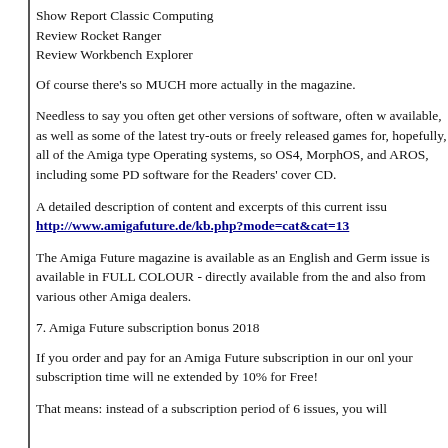Show Report Classic Computing
Review Rocket Ranger
Review Workbench Explorer
Of course there's so MUCH more actually in the magazine.
Needless to say you often get other versions of software, often w available, as well as some of the latest try-outs or freely released games for, hopefully, all of the Amiga type Operating systems, so OS4, MorphOS, and AROS, including some PD software for the Readers' cover CD.
A detailed description of content and excerpts of this current issu http://www.amigafuture.de/kb.php?mode=cat&cat=13
The Amiga Future magazine is available as an English and Germ issue is available in FULL COLOUR - directly available from the and also from various other Amiga dealers.
7. Amiga Future subscription bonus 2018
If you order and pay for an Amiga Future subscription in our onl your subscription time will ne extended by 10% for Free!
That means: instead of a subscription period of 6 issues, you will